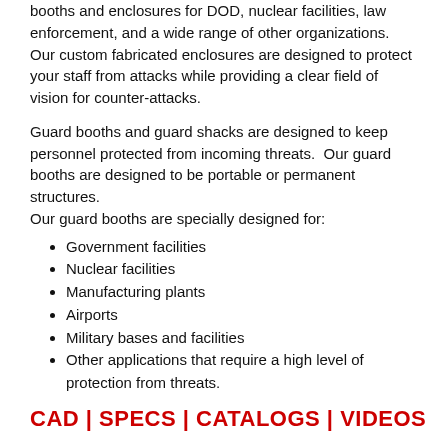booths and enclosures for DOD, nuclear facilities, law enforcement, and a wide range of other organizations. Our custom fabricated enclosures are designed to protect your staff from attacks while providing a clear field of vision for counter-attacks.
Guard booths and guard shacks are designed to keep personnel protected from incoming threats.  Our guard booths are designed to be portable or permanent structures.
Our guard booths are specially designed for:
Government facilities
Nuclear facilities
Manufacturing plants
Airports
Military bases and facilities
Other applications that require a high level of protection from threats.
CAD | SPECS | CATALOGS | VIDEOS